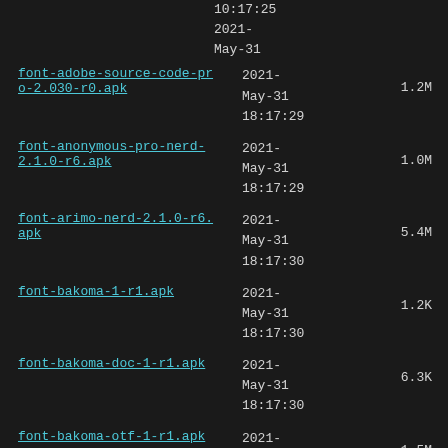font-adobe-source-code-pro-2.030-r0.apk  2021-May-31 18:17:29  1.2M
font-anonymous-pro-nerd-2.1.0-r6.apk  2021-May-31 18:17:29  1.0M
font-arimo-nerd-2.1.0-r6.apk  2021-May-31 18:17:30  5.4M
font-bakoma-1-r1.apk  2021-May-31 18:17:30  1.2K
font-bakoma-doc-1-r1.apk  2021-May-31 18:17:30  6.3K
font-bakoma-otf-1-r1.apk  2021-May-31 18:17:30  1.5M
font-bakoma-ttf-1-r1.apk  2021-May-31 18:17:30  2.1M